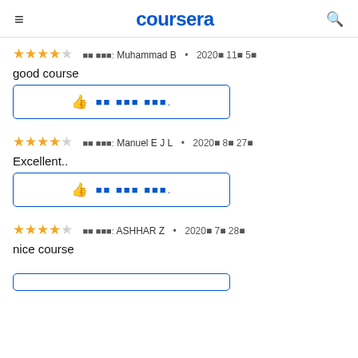coursera
★★★★☆ 작성자: Muhammad B • 2020년 11월 5일
good course
이 도움이 됩니까.
★★★★☆ 작성자: Manuel E J L • 2020년 8월 27일
Excellent..
이 도움이 됩니까.
★★★★☆ 작성자: ASHHAR Z • 2020년 7월 28일
nice course